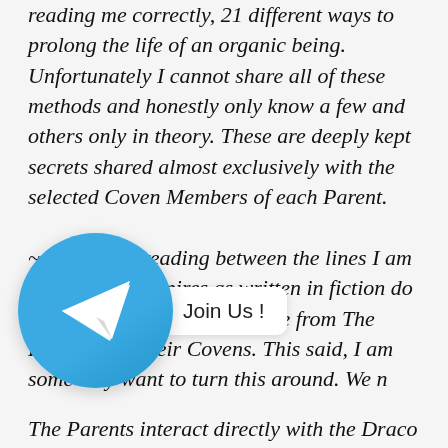reading me correctly, 21 different ways to prolong the life of an organic being. Unfortunately I cannot share all of these methods and honestly only know a few and others only in theory. These are deeply kept secrets shared almost exclusively with the selected Coven Members of each Parent.

~~If you are reading between the lines I am telling you Vampires as written in fiction do not exist, the stories originate from The Parents and their Covens. This said, I am some may want to turn this around. We n
[Figure (logo): Telegram app logo - blue circle with white paper airplane icon, with a 'Join Us !' speech bubble overlay]
The Parents interact directly with the Draco